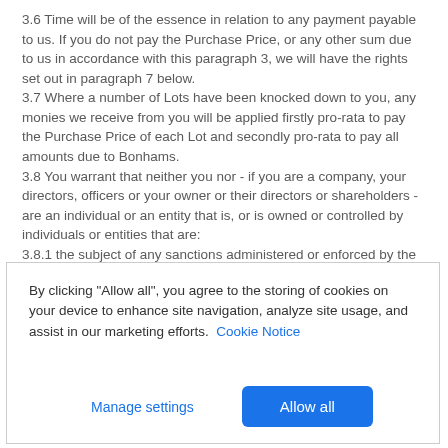3.6 Time will be of the essence in relation to any payment payable to us. If you do not pay the Purchase Price, or any other sum due to us in accordance with this paragraph 3, we will have the rights set out in paragraph 7 below. 3.7 Where a number of Lots have been knocked down to you, any monies we receive from you will be applied firstly pro-rata to pay the Purchase Price of each Lot and secondly pro-rata to pay all amounts due to Bonhams. 3.8 You warrant that neither you nor - if you are a company, your directors, officers or your owner or their directors or shareholders - are an individual or an entity that is, or is owned or controlled by individuals or entities that are: 3.8.1 the subject of any sanctions administered or enforced by the U.S. Department of the Treasury's Office of Foreign Assets
By clicking "Allow all", you agree to the storing of cookies on your device to enhance site navigation, analyze site usage, and assist in our marketing efforts. Cookie Notice
Manage settings | Allow all